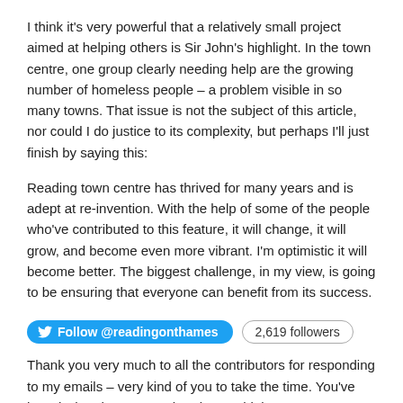I think it's very powerful that a relatively small project aimed at helping others is Sir John's highlight.  In the town centre, one group clearly needing help are the growing number of homeless people – a problem visible in so many towns.  That issue is not the subject of this article, nor could I do justice to its complexity, but perhaps I'll just finish by saying this:
Reading town centre has thrived for many years and is adept at re-invention.  With the help of some of the people who've contributed to this feature, it will change, it will grow, and become even more vibrant.  I'm optimistic it will become better.  The biggest challenge, in my view, is going to be ensuring that everyone can benefit from its success.
[Figure (infographic): Twitter Follow button for @readingonthames with 2,619 followers badge]
Thank you very much to all the contributors for responding to my emails – very kind of you to take the time.  You've heard what they say – what do you think?  Comments welcome – no registration needed.